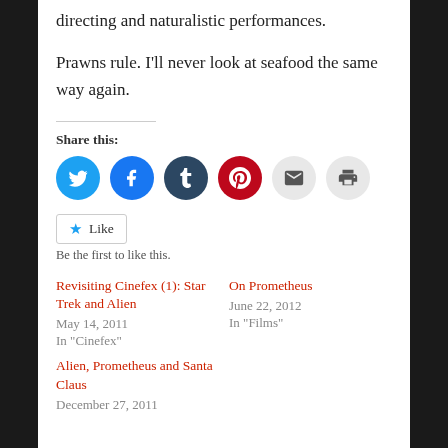directing and naturalistic performances.
Prawns rule. I'll never look at seafood the same way again.
Share this:
[Figure (infographic): Social share icon buttons: Twitter (blue), Facebook (blue), Tumblr (dark blue), Pinterest (red), Email (light grey), Print (light grey)]
Like / Be the first to like this.
Revisiting Cinefex (1): Star Trek and Alien
May 14, 2011
In "Cinefex"
On Prometheus
June 22, 2012
In "Films"
Alien, Prometheus and Santa Claus
December 27, 2011